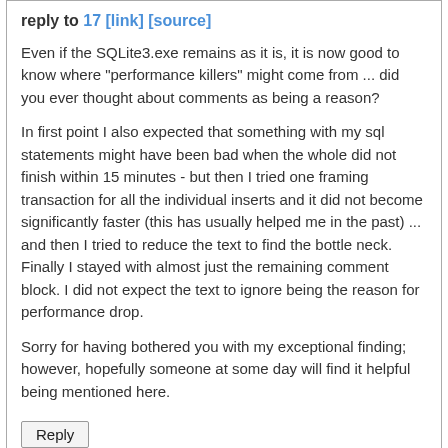reply to 17 [link] [source]
Even if the SQLite3.exe remains as it is, it is now good to know where "performance killers" might come from ... did you ever thought about comments as being a reason?
In first point I also expected that something with my sql statements might have been bad when the whole did not finish within 15 minutes - but then I tried one framing transaction for all the individual inserts and it did not become significantly faster (this has usually helped me in the past) ... and then I tried to reduce the text to find the bottle neck. Finally I stayed with almost just the remaining comment block. I did not expect the text to ignore being the reason for performance drop.
Sorry for having bothered you with my exceptional finding; however, hopefully someone at some day will find it helpful being mentioned here.
Reply
(19.1) By Scott Robison (casaderobison) on 2021-09-09 19:43:46 edited from 19.0 in reply to 18 [link] [source]